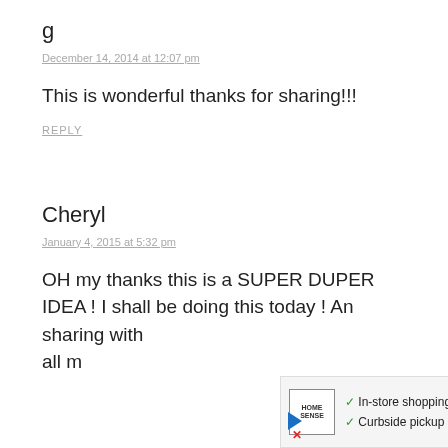g
December 14, 2014 at 12:07 pm
This is wonderful thanks for sharing!!!
REPLY
Cheryl
January 4, 2015 at 5:32 pm
OH my thanks this is a SUPER DUPER IDEA ! I shall be doing this today ! An sharing with all m
[Figure (other): Advertisement banner for Home Sense store showing in-store shopping with checkmarks and an arrow icon]